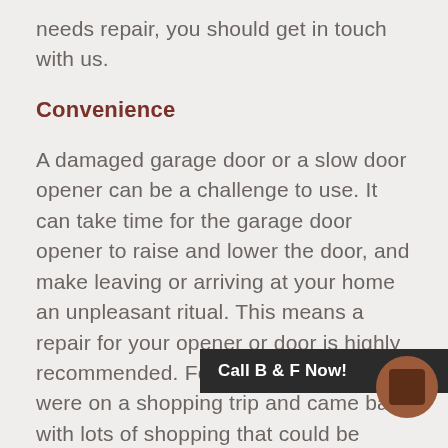needs repair, you should get in touch with us.
Convenience
A damaged garage door or a slow door opener can be a challenge to use. It can take time for the garage door opener to raise and lower the door, and make leaving or arriving at your home an unpleasant ritual. This means a repair for your opener or door is highly recommended. For example, if you were on a shopping trip and came back with lots of shopping that could be melting in the heat or freezing in the cold, then the last thing you want is for your garage door to stop working properly. This can prove to be a serious problem if you often leave and return to your home throughout the door. Luckily, our door service
Call B & F Now!